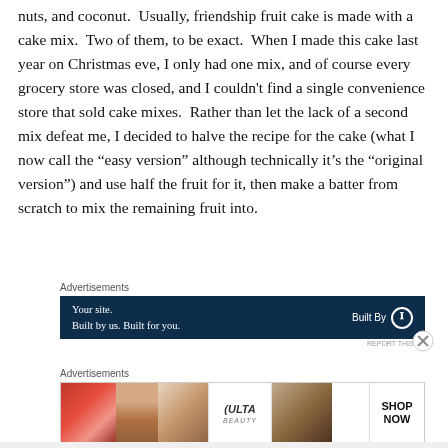nuts, and coconut. Usually, friendship fruit cake is made with a cake mix. Two of them, to be exact. When I made this cake last year on Christmas eve, I only had one mix, and of course every grocery store was closed, and I couldn't find a single convenience store that sold cake mixes. Rather than let the lack of a second mix defeat me, I decided to halve the recipe for the cake (what I now call the “easy version” although technically it’s the “original version”) and use half the fruit for it, then make a batter from scratch to mix the remaining fruit into.
[Figure (other): Advertisement banner: dark navy background with white text 'Your site. Built by us. Built for you.' and 'Built By' with WordPress logo on the right]
[Figure (other): Advertisement banner showing Ulta Beauty cosmetics ad with images of lips, makeup brush, eyes, Ulta logo, and 'SHOP NOW' call to action]